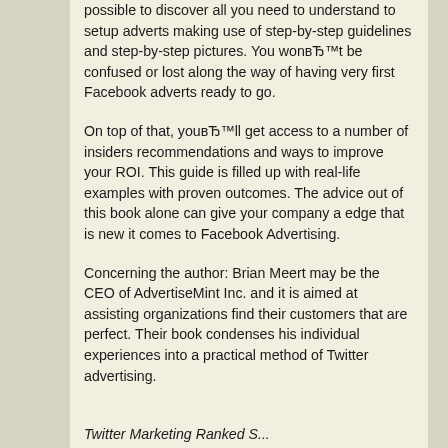possible to discover all you need to understand to setup adverts making use of step-by-step guidelines and step-by-step pictures. You wonвЂ™t be confused or lost along the way of having very first Facebook adverts ready to go.
On top of that, youвЂ™ll get access to a number of insiders recommendations and ways to improve your ROI. This guide is filled up with real-life examples with proven outcomes. The advice out of this book alone can give your company a edge that is new it comes to Facebook Advertising.
Concerning the author: Brian Meert may be the CEO of AdvertiseMint Inc. and it is aimed at assisting organizations find their customers that are perfect. Their book condenses his individual experiences into a practical method of Twitter advertising.
Twitter Marketing Ranked S...